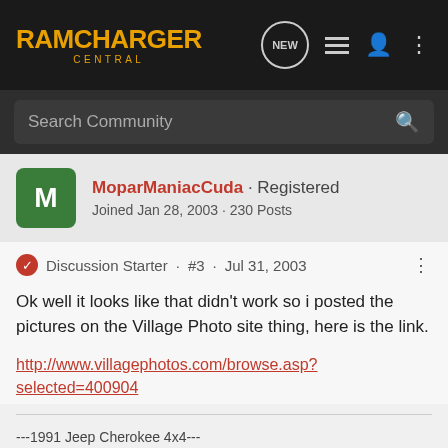Ramcharger Central
Search Community
MoparManiacCuda · Registered
Joined Jan 28, 2003 · 230 Posts
Discussion Starter · #3 · Jul 31, 2003
Ok well it looks like that didn't work so i posted the pictures on the Village Photo site thing, here is the link.
http://www.villagephotos.com/browse.asp?selected=400904
---1991 Jeep Cherokee 4x4---
4.0L AW4 NP231 D30/8.25 Stock for now